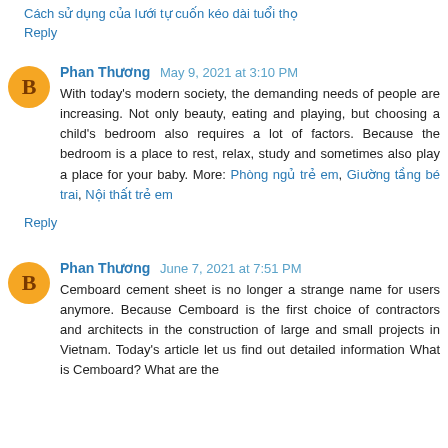Cách sử dụng của lưới tự cuốn kéo dài tuổi thọ
Reply
Phan Thương  May 9, 2021 at 3:10 PM
With today's modern society, the demanding needs of people are increasing. Not only beauty, eating and playing, but choosing a child's bedroom also requires a lot of factors. Because the bedroom is a place to rest, relax, study and sometimes also play a place for your baby. More: Phòng ngủ trẻ em, Giường tầng bé trai, Nội thất trẻ em
Reply
Phan Thương  June 7, 2021 at 7:51 PM
Cemboard cement sheet is no longer a strange name for users anymore. Because Cemboard is the first choice of contractors and architects in the construction of large and small projects in Vietnam. Today's article let us find out detailed information What is Cemboard? What are the